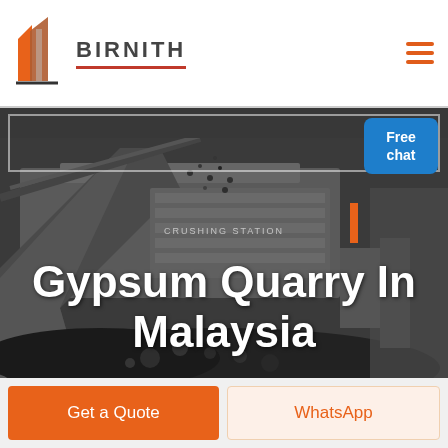[Figure (logo): Birnith company logo with orange building icon and bold BIRNITH text with red underline, hamburger menu icon on right]
[Figure (photo): Industrial crushing station machinery with dark rocks/coal, large mechanical equipment under dark sky]
Gypsum Quarry In Malaysia
[Figure (infographic): Blue Free chat badge with person icon in top right of hero image]
Get a Quote
WhatsApp